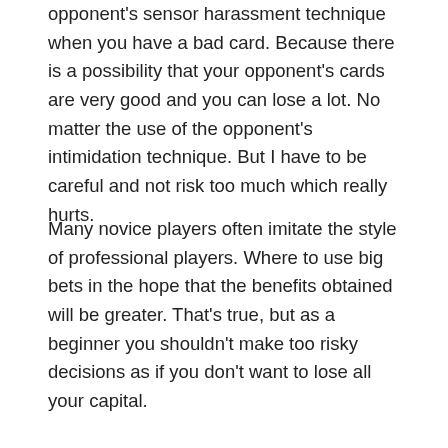opponent's sensor harassment technique when you have a bad card. Because there is a possibility that your opponent's cards are very good and you can lose a lot. No matter the use of the opponent's intimidation technique. But I have to be careful and not risk too much which really hurts.
Many novice players often imitate the style of professional players. Where to use big bets in the hope that the benefits obtained will be greater. That's true, but as a beginner you shouldn't make too risky decisions as if you don't want to lose all your capital.
19/08/2021 by admin
Learn How To Beat Online Slot Gambling Machines